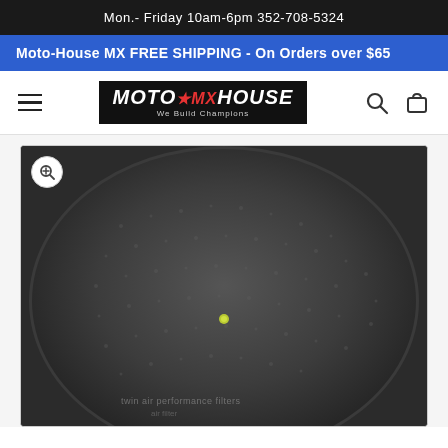Mon.- Friday 10am-6pm 352-708-5324
Moto-House MX FREE SHIPPING - On Orders over $65
[Figure (logo): Moto-House MX logo with star, black background, italic white text, tagline 'We Build Champions']
[Figure (photo): Close-up product photo of a round dark gray foam air filter with textured surface, showing a small yellow/green center stud and partial text branding at bottom edge]